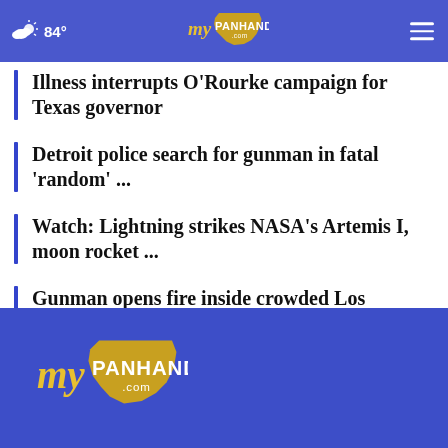84° myPanhandle.com
Illness interrupts O'Rourke campaign for Texas governor
Detroit police search for gunman in fatal 'random' ...
Watch: Lightning strikes NASA's Artemis I, moon rocket ...
Gunman opens fire inside crowded Los Angeles bar; ...
[Figure (logo): myPanhandle.com logo in footer on blue background]